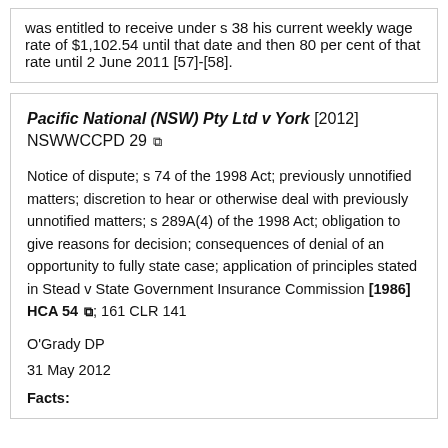was entitled to receive under s 38 his current weekly wage rate of $1,102.54 until that date and then 80 per cent of that rate until 2 June 2011 [57]-[58].
Pacific National (NSW) Pty Ltd v York [2012] NSWWCCPD 29
Notice of dispute; s 74 of the 1998 Act; previously unnotified matters; discretion to hear or otherwise deal with previously unnotified matters; s 289A(4) of the 1998 Act; obligation to give reasons for decision; consequences of denial of an opportunity to fully state case; application of principles stated in Stead v State Government Insurance Commission [1986] HCA 54; 161 CLR 141
O'Grady DP
31 May 2012
Facts: